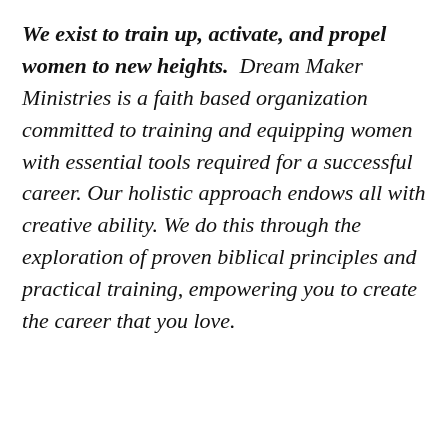We exist to train up, activate, and propel women to new heights.  Dream Maker Ministries is a faith based organization committed to training and equipping women with essential tools required for a successful career. Our holistic approach endows all with creative ability. We do this through the exploration of proven biblical principles and practical training, empowering you to create the career that you love.